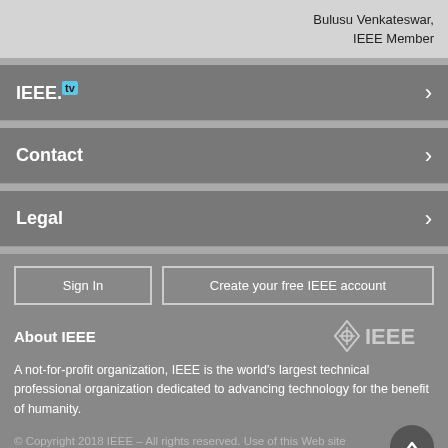Bulusu Venkateswar, IEEE Member
IEEE.tv
Contact
Legal
Sign In
Create your free IEEE account
About IEEE
[Figure (logo): IEEE diamond logo with IEEE text]
A not-for-profit organization, IEEE is the world's largest technical professional organization dedicated to advancing technology for the benefit of humanity.
© Copyright 2018 IEEE – All rights reserved. Use of this Web site signifies your agreement to the IEEE Terms and Conditions.